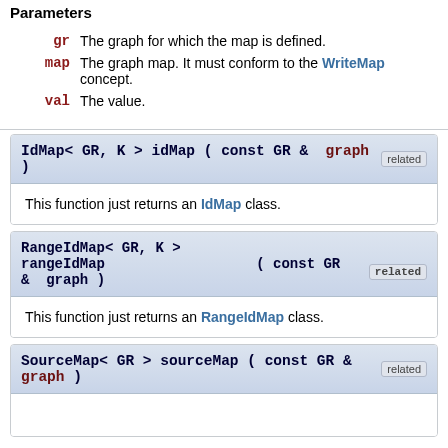Parameters
gr  The graph for which the map is defined.
map  The graph map. It must conform to the WriteMap concept.
val  The value.
IdMap< GR, K > idMap ( const GR &  graph )  related
This function just returns an IdMap class.
RangeIdMap< GR, K > rangeIdMap ( const GR &  graph )  related
This function just returns an RangeIdMap class.
SourceMap< GR > sourceMap ( const GR &  graph )  related